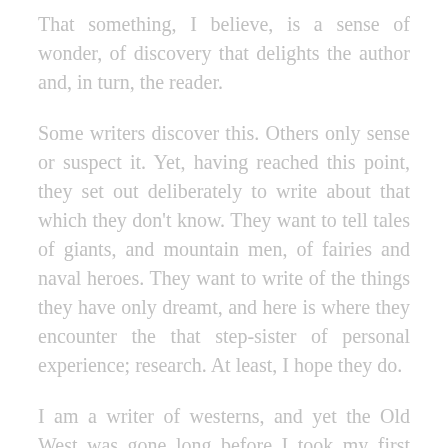That something, I believe, is a sense of wonder, of discovery that delights the author and, in turn, the reader.
Some writers discover this. Others only sense or suspect it. Yet, having reached this point, they set out deliberately to write about that which they don't know. They want to tell tales of giants, and mountain men, of fairies and naval heroes. They want to write of the things they have only dreamt, and here is where they encounter the that step-sister of personal experience; research. At least, I hope they do.
I am a writer of westerns, and yet the Old West was gone long before I took my first breath. I have never been a mountain man, a cavalry trooper, a saloon keeper, or a bounty hunter. I've never rounded up wild